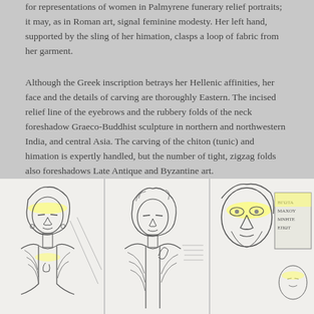for representations of women in Palmyrene funerary relief portraits; it may, as in Roman art, signal feminine modesty. Her left hand, supported by the sling of her himation, clasps a loop of fabric from her garment.
Although the Greek inscription betrays her Hellenic affinities, her face and the details of carving are thoroughly Eastern. The incised relief line of the eyebrows and the rubbery folds of the neck foreshadow Graeco-Buddhist sculpture in northern and northwestern India, and central Asia. The carving of the chiton (tunic) and himation is expertly handled, but the number of tight, zigzag folds also foreshadows Late Antique and Byzantine art.
"Funerary monument of Aththaia, daughter of Malchos. Museum of Fine Arts, Boston". Retrieved 13 July 2017
[Figure (illustration): Line drawing sketch of a Palmyrene funerary relief portrait of a woman wearing a headscarf/himation, with yellow highlighted annotations on the forehead/eyes area and necklace area. The figure is shown from approximately the waist up.]
[Figure (illustration): Line drawing sketch of a second Palmyrene funerary relief portrait of a woman in similar attire with headscarf/himation, shown from approximately the waist up. The figure appears to be raising one hand.]
[Figure (illustration): Line drawing sketch of a third Palmyrene funerary monument showing a face with yellow highlight annotations on the eyes/nose area, and what appears to be an inscription panel to the right. A smaller figure or head is visible at the bottom right.]